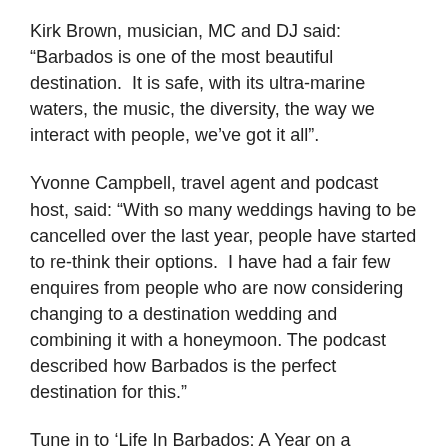Kirk Brown, musician, MC and DJ said: “Barbados is one of the most beautiful destination.  It is safe, with its ultra-marine waters, the music, the diversity, the way we interact with people, we’ve got it all”.
Yvonne Campbell, travel agent and podcast host, said: “With so many weddings having to be cancelled over the last year, people have started to re-think their options.  I have had a fair few enquires from people who are now considering changing to a destination wedding and combining it with a honeymoon. The podcast described how Barbados is the perfect destination for this.”
Tune in to ‘Life In Barbados: A Year on a Paradise Island’ to find out more.